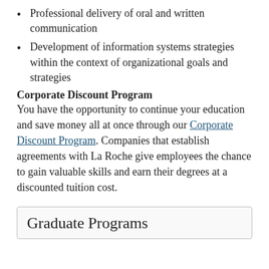Professional delivery of oral and written communication
Development of information systems strategies within the context of organizational goals and strategies
Corporate Discount Program
You have the opportunity to continue your education and save money all at once through our Corporate Discount Program. Companies that establish agreements with La Roche give employees the chance to gain valuable skills and earn their degrees at a discounted tuition cost.
Graduate Programs